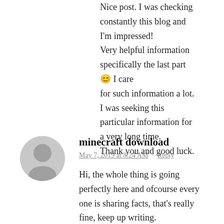Nice post. I was checking constantly this blog and I'm impressed! Very helpful information specifically the last part 🙂 I care for such information a lot. I was seeking this particular information for a very long time. Thank you and good luck.
minecraft download
May 7, 2019 at 8:24 AM · Reply
Hi, the whole thing is going perfectly here and ofcourse every one is sharing facts, that's really fine, keep up writing.